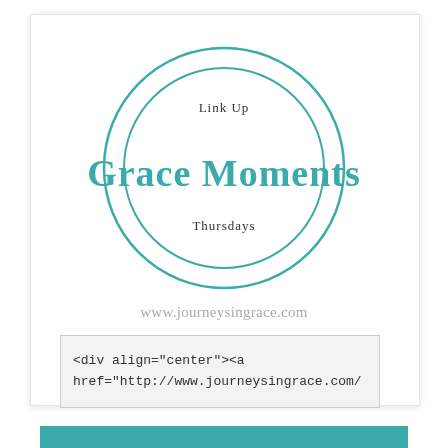[Figure (logo): Grace Moments Link Up logo with two teal semicircle arcs forming a circle shape, 'Link Up' text inside top arc, 'Grace Moments' as large teal serif bold text in center, 'Thursdays' text inside bottom arc]
www.journeysingrace.com
<div align="center"><a href="http://www.journeysingrace.com/